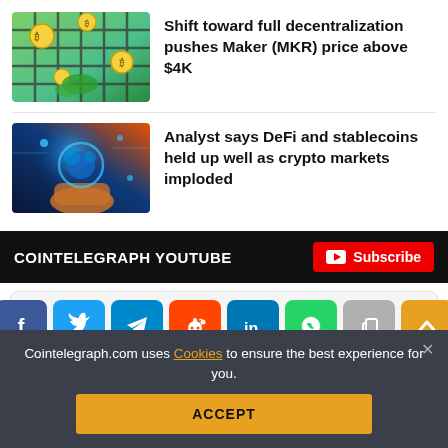[Figure (illustration): Thumbnail image of crypto coins behind a cage/grid with green background]
Shift toward full decentralization pushes Maker (MKR) price above $4K
[Figure (illustration): Thumbnail image of glowing DeFi coins held in hand with blue digital background]
Analyst says DeFi and stablecoins held up well as crypto markets imploded
COINTELEGRAPH YOUTUBE
Subscribe
[Figure (infographic): Social sharing buttons: Facebook, Twitter, Telegram, Reddit, LinkedIn, WhatsApp, Copy, Scroll-up]
Cointelegraph.com uses Cookies to ensure the best experience for you.
ACCEPT